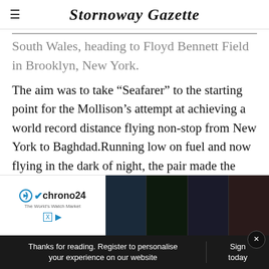Stornoway Gazette
South Wales, heading to Floyd Bennett Field in Brooklyn, New York.
The aim was to take “Seafarer” to the starting point for the Mollison’s attempt at achieving a world record distance flying non-stop from New York to Baghdad.Running low on fuel and now flying in the dark of night, the pair made the decision to land short of New York. Spotting the lights
Stratford, Connecticut.
[Figure (screenshot): Chrono24 watch advertisement banner with three watch images]
Thanks for reading. Register to personalise your experience on our website
Sign today